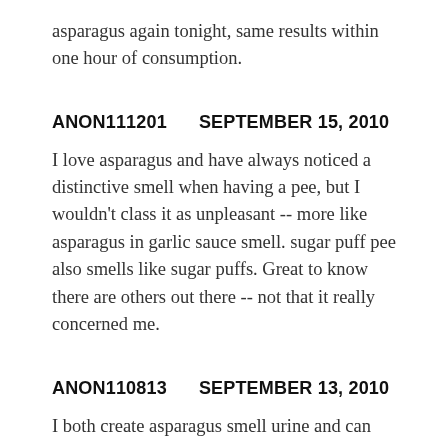asparagus again tonight, same results within one hour of consumption.
ANON111201  SEPTEMBER 15, 2010
I love asparagus and have always noticed a distinctive smell when having a pee, but I wouldn't class it as unpleasant -- more like asparagus in garlic sauce smell. sugar puff pee also smells like sugar puffs. Great to know there are others out there -- not that it really concerned me.
ANON110813  SEPTEMBER 13, 2010
I both create asparagus smell urine and can